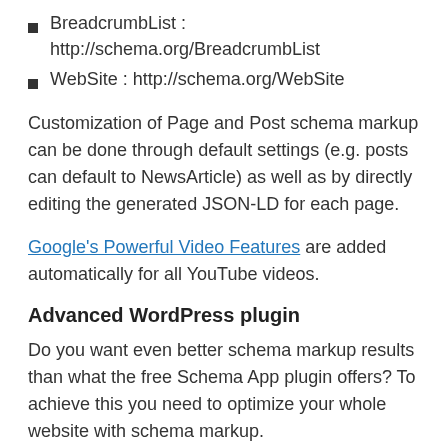BreadcrumbList : http://schema.org/BreadcrumbList
WebSite : http://schema.org/WebSite
Customization of Page and Post schema markup can be done through default settings (e.g. posts can default to NewsArticle) as well as by directly editing the generated JSON-LD for each page.
Google's Powerful Video Features are added automatically for all YouTube videos.
Advanced WordPress plugin
Do you want even better schema markup results than what the free Schema App plugin offers? To achieve this you need to optimize your whole website with schema markup.
Schema App enables marketers to create custom